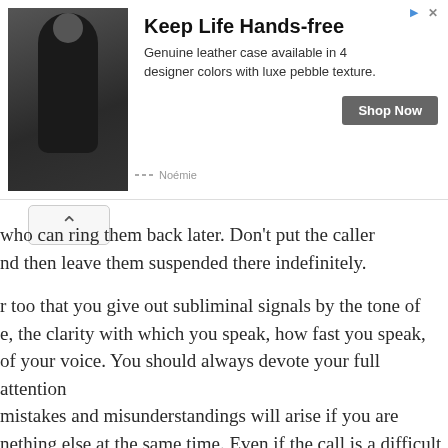[Figure (photo): Advertisement banner: photo of a person in black clothing with a phone case. Text reads 'Keep Life Hands-free'. Genuine leather case available in 4 designer colors with luxe pebble texture. Shop Now button. Brand: Noémie.]
who can ring them back later. Don't put the caller nd then leave them suspended there indefinitely.
r too that you give out subliminal signals by the tone of e, the clarity with which you speak, how fast you speak, of your voice. You should always devote your full attention mistakes and misunderstandings will arise if you are nething else at the same time. Even if the call is a difficult one, stay calm; try to be helpful and never slam the wn.
o avoid when on the phone
o fall into the trap of believing that because your caller you, they won't be affected by what you are doing and